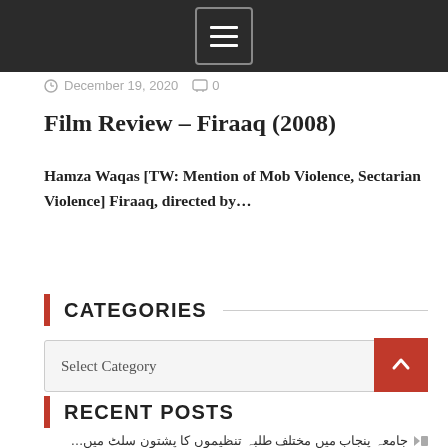[Navigation bar with hamburger menu icon]
December 19, 2020  0
Film Review – Firaaq (2008)
Hamza Waqas [TW: Mention of Mob Violence, Sectarian Violence] Firaaq, directed by...
CATEGORIES
Select Category
RECENT POSTS
جامعہ پنجاب میں مختلف طلبہ تنظیموں کا پشتون سلٹ میں…